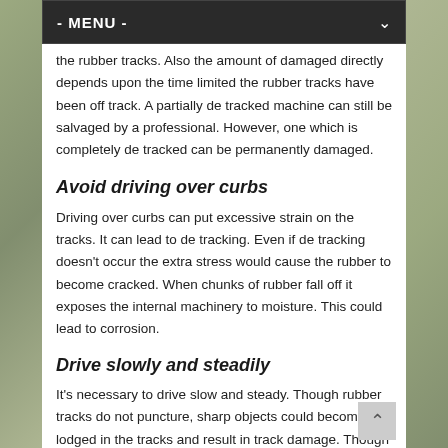- MENU -
the rubber tracks. Also the amount of damaged directly depends upon the time limited the rubber tracks have been off track. A partially de tracked machine can still be salvaged by a professional. However, one which is completely de tracked can be permanently damaged.
Avoid driving over curbs
Driving over curbs can put excessive strain on the tracks. It can lead to de tracking. Even if de tracking doesn’t occur the extra stress would cause the rubber to become cracked. When chunks of rubber fall off it exposes the internal machinery to moisture. This could lead to corrosion.
Drive slowly and steadily
It’s necessary to drive slow and steady. Though rubber tracks do not puncture, sharp objects could become lodged in the tracks and result in track damage. Though there might be no